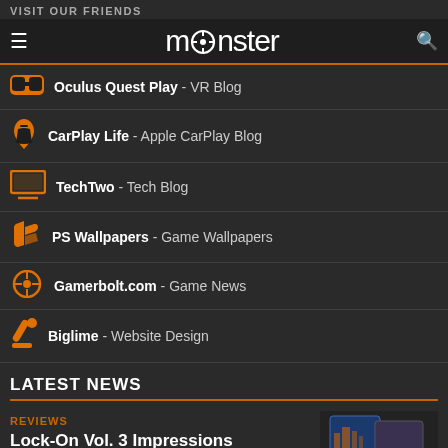monster
VISIT OUR FRIENDS
Oculus Quest Play - VR Blog
CarPlay Life - Apple CarPlay Blog
TechTwo - Tech Blog
PS Wallpapers - Game Wallpapers
Gamerbolt.com - Game News
Biglime - Website Design
LATEST NEWS
REVIEWS
Lock-On Vol. 3 Impressions
AUGUST 29, 2022
[Figure (photo): Photo of Lock-On Vol. 3 book/magazine with orange and blue cover, number 003 visible]